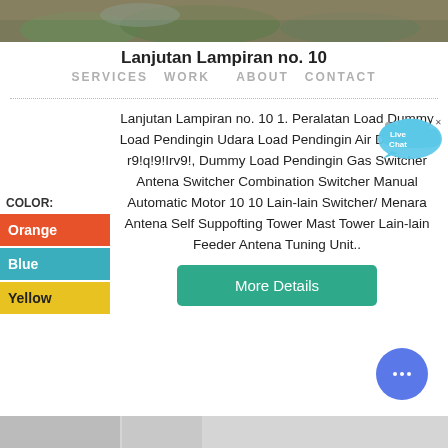[Figure (photo): Photo of outdoor/nature scene with rocks and vegetation]
Lanjutan Lampiran no. 10
SERVICES  WORK      ABOUT  CONTACT
Lanjutan Lampiran no. 10 1. Peralatan Load Dummy Load Pendingin Udara Load Pendingin Air Dqq[vEgq r9!q!9!Irv9!, Dummy Load Pendingin Gas Switcher Antena Switcher Combination Switcher Manual Automatic Motor 10 10 Lain-lain Switcher/ Menara Antena Self Suppofting Tower Mast Tower Lain-lain Feeder Antena Tuning Unit..
COLOR:
Orange
Blue
Yellow
More Details